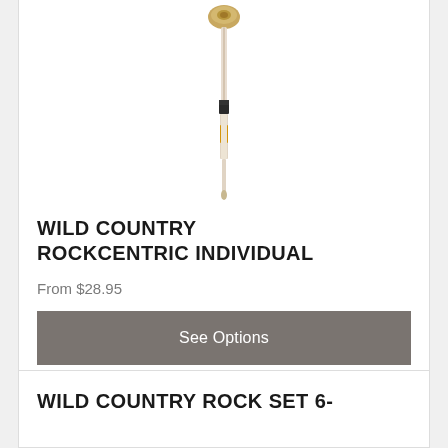[Figure (photo): Wild Country Rockcentric climbing nut/stopper on a wire, shown vertically. The piece has a brass/gold colored head at top and a tapered metal body with white and orange wire sling.]
WILD COUNTRY ROCKCENTRIC INDIVIDUAL
From $28.95
See Options
WILD COUNTRY ROCK SET 6-